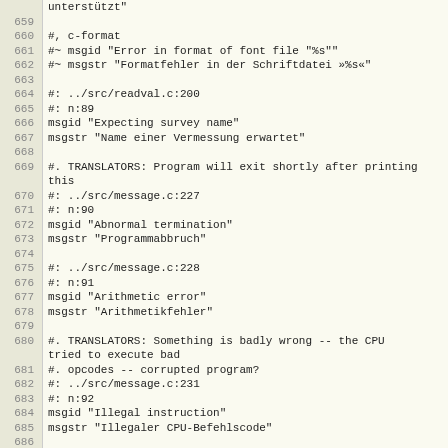Code listing lines 659-688 showing gettext PO file content with German translations